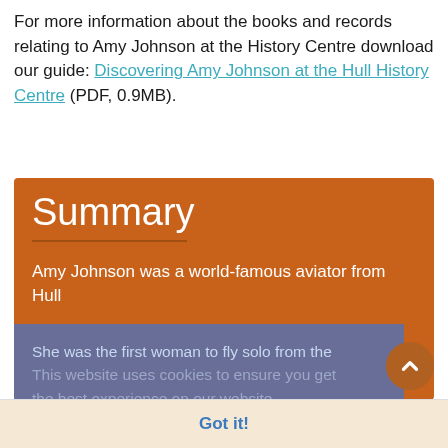For more information about the books and records relating to Amy Johnson at the History Centre download our guide: Discovering Amy Johnson at the Hull History Centre (PDF, 0.9MB).
Summary
Amy Johnson was a world-famous aviator from Hull
She was the first woman to fly solo from the [UK to Australia in 1930]
This website uses cookies to ensure you get the best experience on our website. Learn more
Hull History Centre owns 286 of her letters, mainly written to Hans Arregger
Got it!